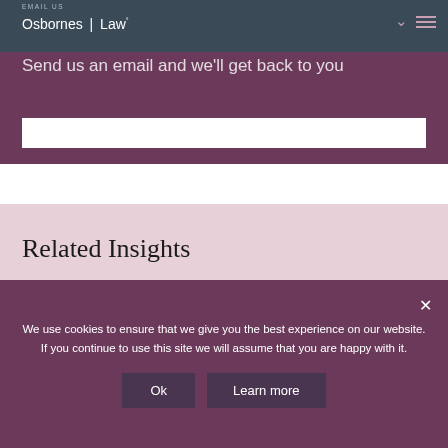EMAIL US
[Figure (logo): Osbornes Law logo with pipe separator and degree symbol]
Send us an email and we'll get back to you
Related Insights
We use cookies to ensure that we give you the best experience on our website. If you continue to use this site we will assume that you are happy with it.